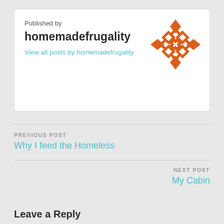Published by
homemadefrugality
View all posts by homemadefrugality
[Figure (logo): Orange and white diamond/checker pattern logo badge]
PREVIOUS POST
Why I feed the Homeless
NEXT POST
My Cabin
Leave a Reply